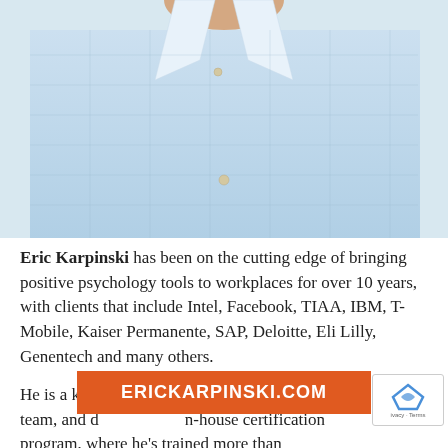[Figure (photo): Photo of Eric Karpinski, a man wearing a light blue grid-pattern dress shirt, shown from chest up against a light background.]
Eric Karpinski has been on the cutting edge of bringing positive psychology tools to workplaces for over 10 years, with clients that include Intel, Facebook, TIAA, IBM, T-Mobile, Kaiser Permanente, SAP, Deloitte, Eli Lilly, Genentech and many others.
He is a key member of Shawn Achor's GoodThink team, and d[eveloped an in-house] certification program, where he's trained more than